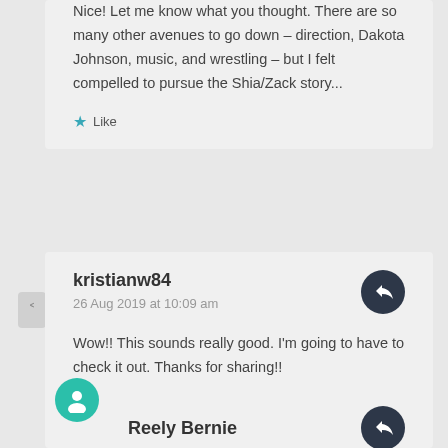Nice! Let me know what you thought. There are so many other avenues to go down – direction, Dakota Johnson, music, and wrestling – but I felt compelled to pursue the Shia/Zack story...
Like
kristianw84
26 Aug 2019 at 10:09 am
Wow!! This sounds really good. I'm going to have to check it out. Thanks for sharing!!
Liked by 1 person
Reely Bernie